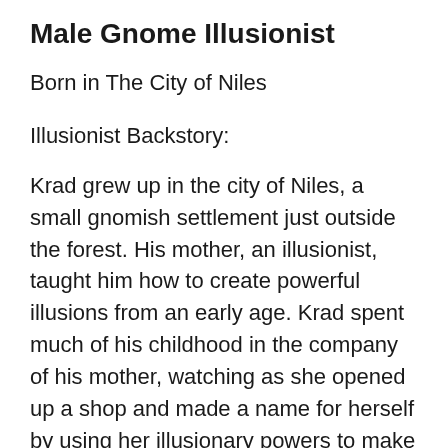Male Gnome Illusionist
Born in The City of Niles
Illusionist Backstory:
Krad grew up in the city of Niles, a small gnomish settlement just outside the forest. His mother, an illusionist, taught him how to create powerful illusions from an early age. Krad spent much of his childhood in the company of his mother, watching as she opened up a shop and made a name for herself by using her illusionary powers to make people appear